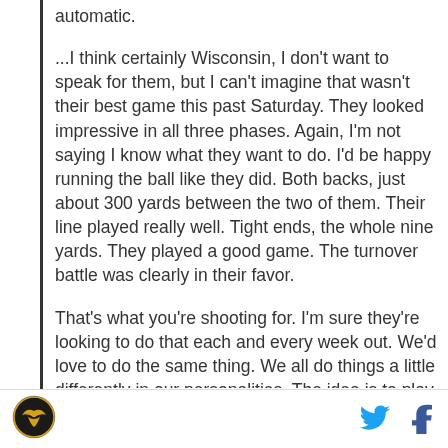automatic.
...I think certainly Wisconsin, I don't want to speak for them, but I can't imagine that wasn't their best game this past Saturday. They looked impressive in all three phases. Again, I'm not saying I know what they want to do. I'd be happy running the ball like they did. Both backs, just about 300 yards between the two of them. Their line played really well. Tight ends, the whole nine yards. They played a good game. The turnover battle was clearly in their favor.
That's what you're shooting for. I'm sure they're looking to do that each and every week out. We'd love to do the same thing. We all do things a little differently in our personalities. The idea is to play
[Figure (logo): Sports organization logo - circular gold and black emblem with eagle/bird design]
[Figure (logo): Twitter bird icon in cyan/blue]
[Figure (logo): Facebook 'f' icon in dark blue]